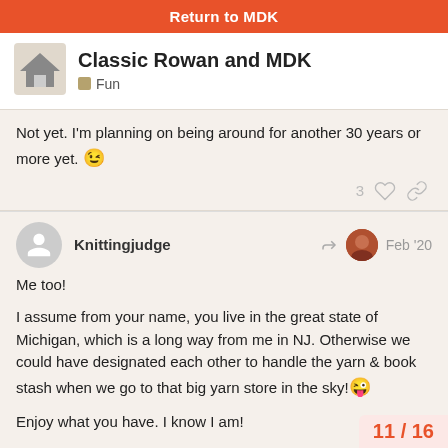Return to MDK
Classic Rowan and MDK
Fun
Not yet. I'm planning on being around for another 30 years or more yet. 😉
Knittingjudge  Feb '20
Me too!
I assume from your name, you live in the great state of Michigan, which is a long way from me in NJ. Otherwise we could have designated each other to handle the yarn & book stash when we go to that big yarn store in the sky! 😜
Enjoy what you have. I know I am!
11 / 16